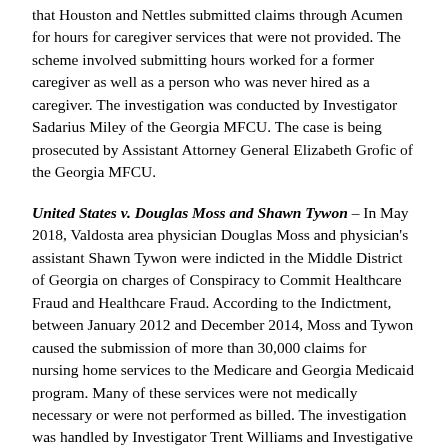that Houston and Nettles submitted claims through Acumen for hours for caregiver services that were not provided. The scheme involved submitting hours worked for a former caregiver as well as a person who was never hired as a caregiver. The investigation was conducted by Investigator Sadarius Miley of the Georgia MFCU. The case is being prosecuted by Assistant Attorney General Elizabeth Grofic of the Georgia MFCU.
United States v. Douglas Moss and Shawn Tywon – In May 2018, Valdosta area physician Douglas Moss and physician's assistant Shawn Tywon were indicted in the Middle District of Georgia on charges of Conspiracy to Commit Healthcare Fraud and Healthcare Fraud. According to the Indictment, between January 2012 and December 2014, Moss and Tywon caused the submission of more than 30,000 claims for nursing home services to the Medicare and Georgia Medicaid program. Many of these services were not medically necessary or were not performed as billed. The investigation was handled by Investigator Trent Williams and Investigative Auditor Denise Colson of the Georgia MFCU along